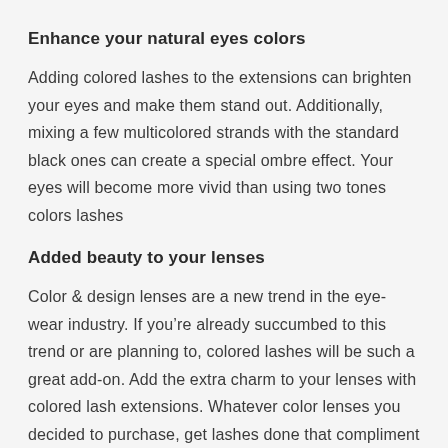Enhance your natural eyes colors
Adding colored lashes to the extensions can brighten your eyes and make them stand out. Additionally, mixing a few multicolored strands with the standard black ones can create a special ombre effect. Your eyes will become more vivid than using two tones colors lashes
Added beauty to your lenses
Color & design lenses are a new trend in the eye-wear industry. If you’re already succumbed to this trend or are planning to, colored lashes will be such a great add-on. Add the extra charm to your lenses with colored lash extensions. Whatever color lenses you decided to purchase, get lashes done that compliment that color.